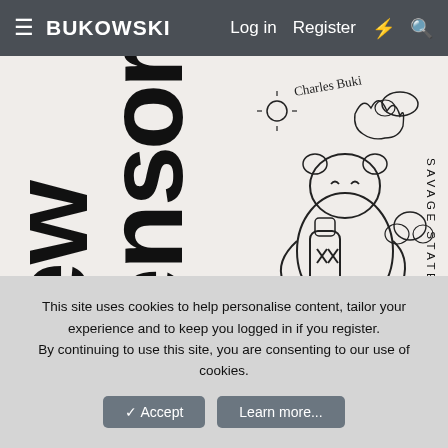≡ BUKOWSKI   Log in   Register   ⚡   🔍
[Figure (illustration): Book cover artwork for 'New Censor / Savage State' showing large bold vertical text 'new censor' on the left, and a hand-drawn sketch of cartoon characters including a bear-like figure holding a bottle with XX marks, small figures, and a handwritten signature reading 'Charles Bukowski'. The text 'SAVAGE STATE' is printed vertically on the right side.]
This site uses cookies to help personalise content, tailor your experience and to keep you logged in if you register.
By continuing to use this site, you are consenting to our use of cookies.
✓ Accept
Learn more...